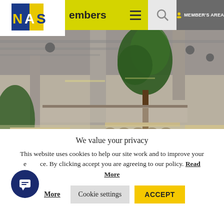[Figure (logo): NAS logo - blue and yellow book-shaped logo with letters N, A, S]
embers  [hamburger menu]  [search icon]  MEMBER'S AREA
[Figure (photo): Interior of a modern restaurant/food hall with industrial ceiling, exposed pipes, large indoor tree, long wooden tables and metal stools on multiple levels]
We value your privacy
This website uses cookies to help our site work and to improve your experience. By clicking accept you are agreeing to our policy. Read More
Cookie settings
ACCEPT